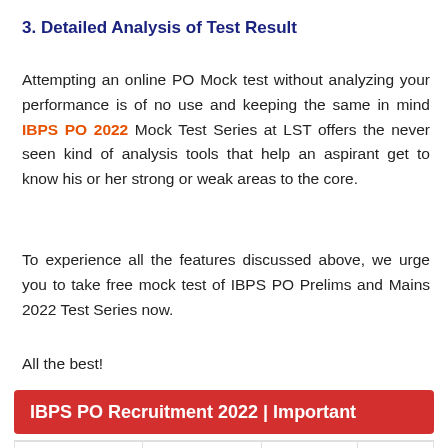3. Detailed Analysis of Test Result
Attempting an online PO Mock test without analyzing your performance is of no use and keeping the same in mind IBPS PO 2022 Mock Test Series at LST offers the never seen kind of analysis tools that help an aspirant get to know his or her strong or weak areas to the core.
To experience all the features discussed above, we urge you to take free mock test of IBPS PO Prelims and Mains 2022 Test Series now.
All the best!
IBPS PO Recruitment 2022 | Important
IBPS PO Prelims | IBPS PO Mains | IBPS PO ...